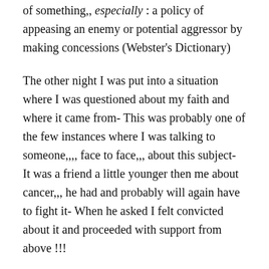of something,, especially : a policy of appeasing an enemy or potential aggressor by making concessions (Webster's Dictionary)
The other night I was put into a situation where I was questioned about my faith and where it came from- This was probably one of the few instances where I was talking to someone,,,, face to face,,, about this subject- It was a friend a little younger then me about cancer,,, he had and probably will again have to fight it- When he asked I felt convicted about it and proceeded with support from above !!!
You know that witnessing to someone face to face has always been difficult for me,,, even at 6 ft 5 inches and 270 lbs,, I have always been intimidated by it. It is one